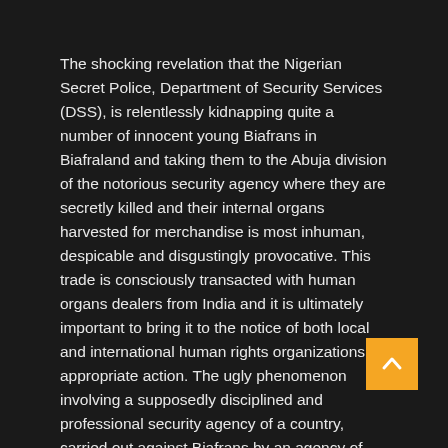The shocking revelation that the Nigerian Secret Police, Department of Security Services (DSS), is relentlessly kidnapping quite a number of innocent young Biafrans in Biafraland and taking them to the Abuja division of the notorious security agency where they are secretly killed and their internal organs harvested for merchandise is most inhuman, despicable and disgustingly provocative. This trade is consciously transacted with human organs dealers from India and it is ultimately important to bring it to the notice of both local and international human rights organizations for appropriate action. The ugly phenomenon involving a supposedly disciplined and professional security agency of a country, carried out against Biafrans by an agency of the Nigerian state, must not be dismissed with a wave of the hand. It is a menace orchestrated against humanity and human dignity. The DSS operatives have been ravaging the entire length and breath of Biafraland wherein innocent Biafrans have been kidnapped and murdered...